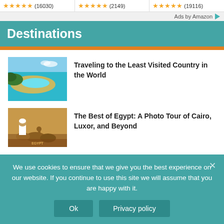[Figure (other): Ad row with star ratings: (16030), (2149), (19116)]
Ads by Amazon
Destinations
[Figure (photo): Tropical beach and blue water aerial photo]
Traveling to the Least Visited Country in the World
[Figure (photo): Man with camels in Egypt]
The Best of Egypt: A Photo Tour of Cairo, Luxor, and Beyond
We use cookies to ensure that we give you the best experience on our website. If you continue to use this site we will assume that you are happy with it.